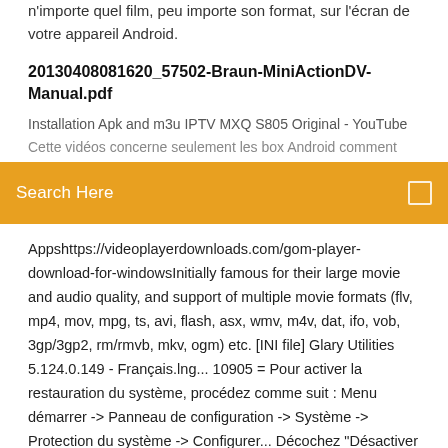n'importe quel film, peu importe son format, sur l'écran de votre appareil Android.
20130408081620_57502-Braun-MiniActionDV-Manual.pdf
Installation Apk and m3u IPTV MXQ S805 Original - YouTube
Cette vidéos concerne seulement les box Android comment
Search Here
Appshttps://videoplayerdownloads.com/gom-player-download-for-windowsInitially famous for their large movie and audio quality, and support of multiple movie formats (flv, mp4, mov, mpg, ts, avi, flash, asx, wmv, m4v, dat, ifo, vob, 3gp/3gp2, rm/rmvb, mkv, ogm) etc. [INI file] Glary Utilities 5.124.0.149 - Français.lng... 10905 = Pour activer la restauration du système, procédez comme suit : Menu démarrer -> Panneau de configuration -> Système -> Protection du système -> Configurer... Décochez "Désactiver la Restauration du système"